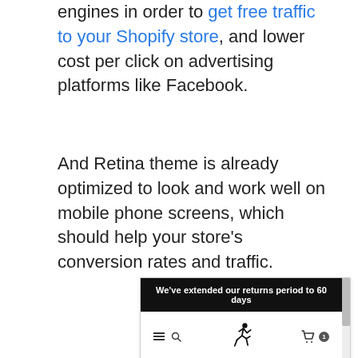engines in order to get free traffic to your Shopify store, and lower cost per click on advertising platforms like Facebook.
And Retina theme is already optimized to look and work well on mobile phone screens, which should help your store's conversion rates and traffic.
[Figure (screenshot): Screenshot of a Shopify store mobile view showing a black banner reading 'We've extended our returns period to 60 days', a navigation bar with hamburger menu, search, runner logo, cart icon with badge showing 1, breadcrumb navigation Home > Collections > Women, and bold heading 'Women'.]